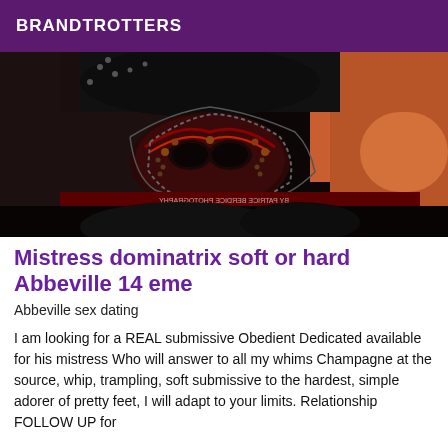BRANDTROTTERS
[Figure (photo): Dark BDSM-themed photograph showing a decorative masquerade mask with beads and studs, black leather accessories, and an orange/red background. Watermark text visible at bottom: BY PATRICE BERDICE PHOTOGRAPHY]
Mistress dominatrix soft or hard Abbeville 14 eme
Abbeville sex dating
I am looking for a REAL submissive Obedient Dedicated available for his mistress Who will answer to all my whims Champagne at the source, whip, trampling, soft submissive to the hardest, simple adorer of pretty feet, I will adapt to your limits. Relationship FOLLOW UP for